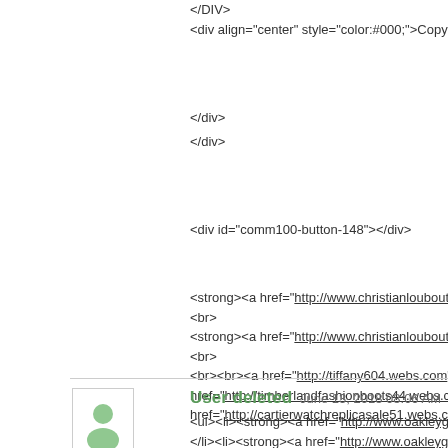</DIV>
<div align="center" style="color:#000;">Copyright © 2012-2014 Alle
</div>
</div>
<div id="comm100-button-148"></div>
<strong><a href="http://www.christianlouboutinsale-online.com/">ch
<br>
<strong><a href="http://www.christianlouboutinsale-online.com/">ch
<br>
<br><br><a href="http://tiffany604.webs.com"> Louboutin laarzen b
href="http://timberlandfashionboots44.webs.com"> Louboutin laarze
href="http://cartierwatchreplicasale51.webs.com"> About christianlo
User deleted   June 13, 2018 08:06 AM
<ul><li><strong><a href="http://www.oakleyglass.cn/">Oakley Sung
</li><li><strong><a href="http://www.oakleyglass.cn/">Oakley Sung
</li><li><strong><a href="http://www.oakleyglass.cn/">cheap price (
</li></ul><br>